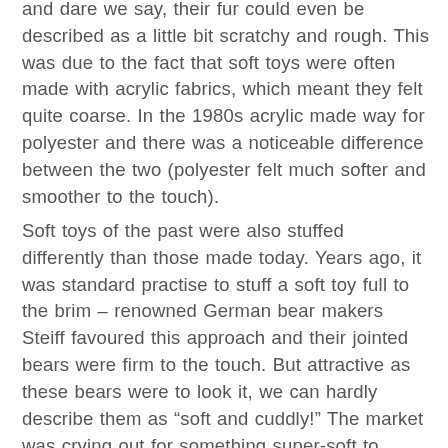and dare we say, their fur could even be described as a little bit scratchy and rough. This was due to the fact that soft toys were often made with acrylic fabrics, which meant they felt quite coarse. In the 1980s acrylic made way for polyester and there was a noticeable difference between the two (polyester felt much softer and smoother to the touch).
Soft toys of the past were also stuffed differently than those made today. Years ago, it was standard practise to stuff a soft toy full to the brim – renowned German bear makers Steiff favoured this approach and their jointed bears were firm to the touch. But attractive as these bears were to look it, we can hardly describe them as “soft and cuddly!” The market was crying out for something super-soft to snuggle up to, a cuddly and loveable soft toy that could offer comfort and warmth, and toy